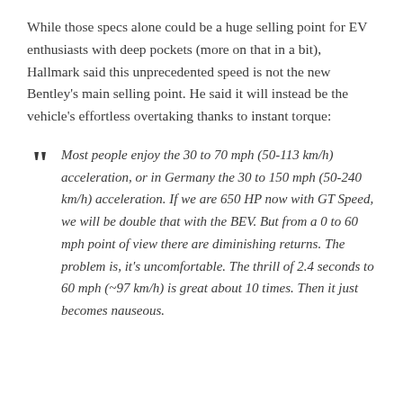While those specs alone could be a huge selling point for EV enthusiasts with deep pockets (more on that in a bit), Hallmark said this unprecedented speed is not the new Bentley's main selling point. He said it will instead be the vehicle's effortless overtaking thanks to instant torque:
Most people enjoy the 30 to 70 mph (50-113 km/h) acceleration, or in Germany the 30 to 150 mph (50-240 km/h) acceleration. If we are 650 HP now with GT Speed, we will be double that with the BEV. But from a 0 to 60 mph point of view there are diminishing returns. The problem is, it's uncomfortable. The thrill of 2.4 seconds to 60 mph (~97 km/h) is great about 10 times. Then it just becomes nauseous.